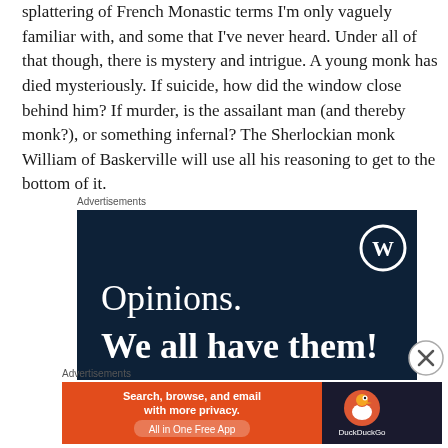splattering of French Monastic terms I'm only vaguely familiar with, and some that I've never heard. Under all of that though, there is mystery and intrigue. A young monk has died mysteriously. If suicide, how did the window close behind him? If murder, is the assailant man (and thereby monk?), or something infernal? The Sherlockian monk William of Baskerville will use all his reasoning to get to the bottom of it.
Advertisements
[Figure (screenshot): Dark navy blue advertisement banner with WordPress logo (W in circle) in top right. Text reads 'Opinions. We all have them!' in white serif font.]
[Figure (logo): Close/dismiss button - circle with X symbol]
Advertisements
[Figure (screenshot): DuckDuckGo advertisement banner. Orange left section with white text: 'Search, browse, and email with more privacy. All in One Free App'. Dark right section with DuckDuckGo duck logo and brand name.]